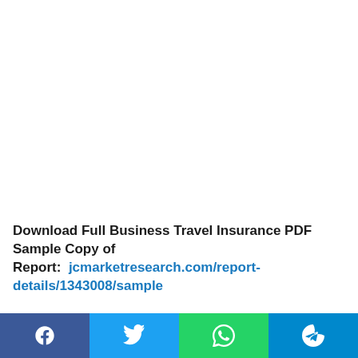Download Full Business Travel Insurance PDF Sample Copy of Report:  jcmarketresearch.com/report-details/1343008/sample
The Business Travel Insurance research covers the current